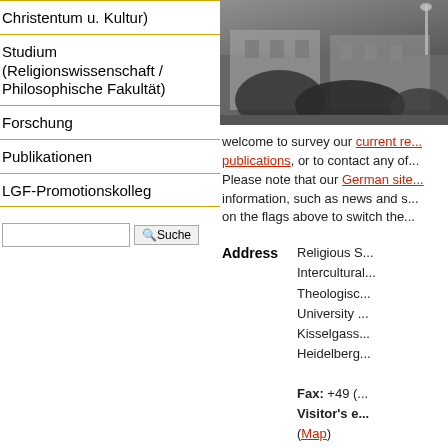Christentum u. Kultur)
Studium (Religionswissenschaft / Philosophische Fakultät)
Forschung
Publikationen
LGF-Promotionskolleg
[Figure (photo): Black and white photograph of a building exterior with trees/shrubs in front]
welcome to survey our current re... publications, or to contact any of... Please note that our German site... information, such as news and s... on the flags above to switch the...
| Address |  |
| --- | --- |
|  | Religious S... |
|  | Intercultural... |
|  | Theologisc... |
|  | University ... |
|  | Kisselgass... |
|  | Heidelberg... |
|  | Fax: +49 (... Visitor's e... (Map) |